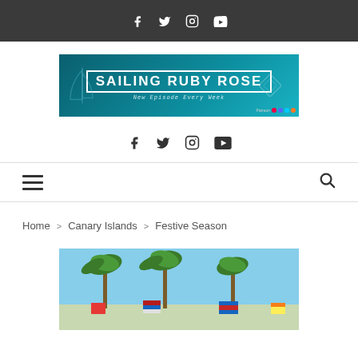Social icons: Facebook, Twitter, Instagram, YouTube
[Figure (logo): Sailing Ruby Rose website banner with teal background, sailboat icon, diamond logo shape, title 'SAILING RUBY ROSE', subtitle 'New Episode Every Week']
Social icons: Facebook, Twitter, Instagram, YouTube
Navigation bar with hamburger menu and search icon
Home > Canary Islands > Festive Season
[Figure (photo): Outdoor photo with palm trees against blue sky, flags visible at bottom]